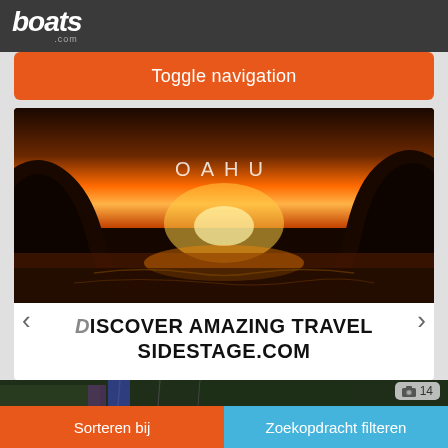[Figure (screenshot): boats.com logo on dark grey navigation bar]
Toggle navigation
[Figure (photo): Sunset photo of ocean between rocky cliffs with text OAHU overlay and carousel navigation arrows]
DISCOVER AMAZING TRAVEL SIDESTAGE.COM
[Figure (photo): Boats marina strip image with camera icon showing 14 photos]
Sorteren bij
Zoekopdracht filteren